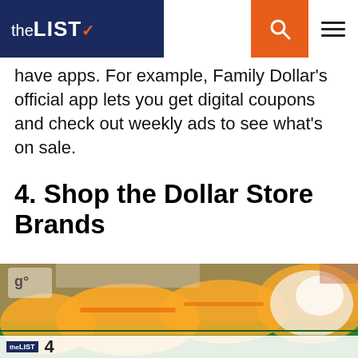theLIST
have apps. For example, Family Dollar's official app lets you get digital coupons and check out weekly ads to see what's on sale.
4. Shop the Dollar Store Brands
[Figure (photo): Close-up photo of dollar store brand products on a store shelf — yellow packaged goods in a green shopping basket, with price tags visible in the background.]